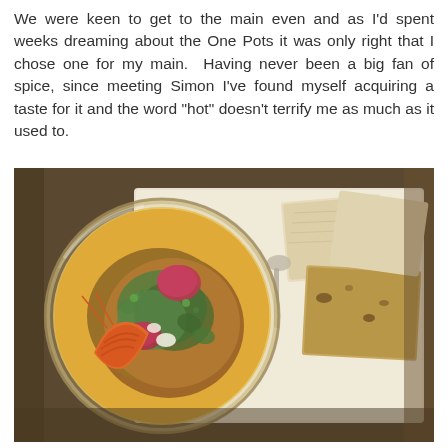We were keen to get to the main even and as I'd spent weeks dreaming about the One Pots it was only right that I chose one for my main. Having never been a big fan of spice, since meeting Simon I've found myself acquiring a taste for it and the word "hot" doesn't terrify me as much as it used to.
[Figure (photo): Overhead photo of a glass bowl containing a curry dish with prawns/shrimp, rice, garnished with fresh herbs, pickled red onions, and a yellow/orange sauce. Served on a tray alongside pieces of flatbread/naan bread. A spoon is visible to the right of the bowl.]